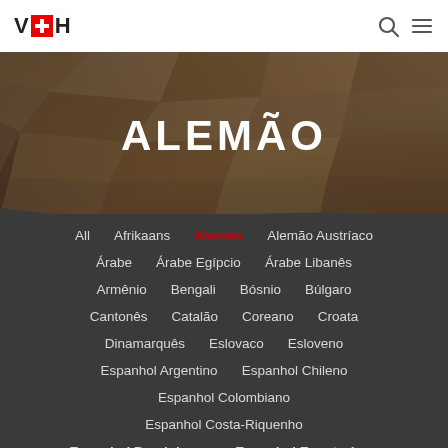V+H logo with navigation icons
[Figure (photo): Geometric wood panel wall installation in dark room setting, serving as hero background image]
ALEMÃO
All
Afrikaans
Alemão
Alemão Austríaco
Árabe
Árabe Egípcio
Árabe Libanês
Armênio
Bengali
Bósnio
Búlgaro
Cantonês
Catalão
Coreano
Croata
Dinamarquês
Eslovaco
Esloveno
Espanhol Argentino
Espanhol Chileno
Espanhol Colombiano
Espanhol Costa-Riquenho
Espanhol Dominicano
Espanhol Equatoriano